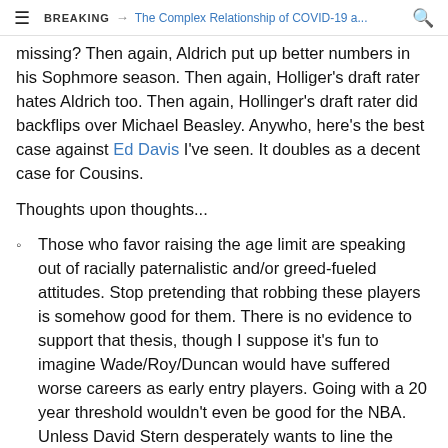BREAKING → The Complex Relationship of COVID-19 a...
missing? Then again, Aldrich put up better numbers in his Sophmore season. Then again, Holliger's draft rater hates Aldrich too. Then again, Hollinger's draft rater did backflips over Michael Beasley. Anywho, here's the best case against Ed Davis I've seen. It doubles as a decent case for Cousins.
Thoughts upon thoughts...
Those who favor raising the age limit are speaking out of racially paternalistic and/or greed-fueled attitudes. Stop pretending that robbing these players is somehow good for them. There is no evidence to support that thesis, though I suppose it's fun to imagine Wade/Roy/Duncan would have suffered worse careers as early entry players. Going with a 20 year threshold wouldn't even be good for the NBA. Unless David Stern desperately wants to line the pockets of European basketball and the NCAA, this “Daddy knows best” mentality should be abandoned.
Dear hipster element of the basketball blogosphere: Please, stop with the mock drafts that mock mock drafts. I get it, and I